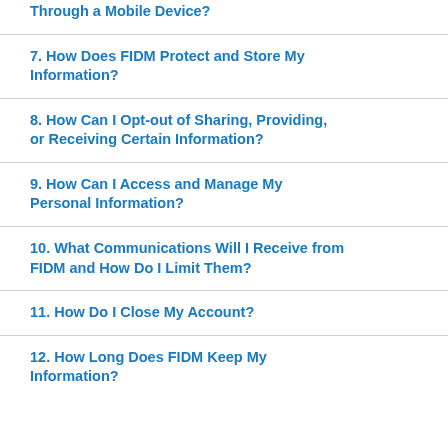Through a Mobile Device?
7. How Does FIDM Protect and Store My Information?
8. How Can I Opt-out of Sharing, Providing, or Receiving Certain Information?
9. How Can I Access and Manage My Personal Information?
10. What Communications Will I Receive from FIDM and How Do I Limit Them?
11. How Do I Close My Account?
12. How Long Does FIDM Keep My Information?